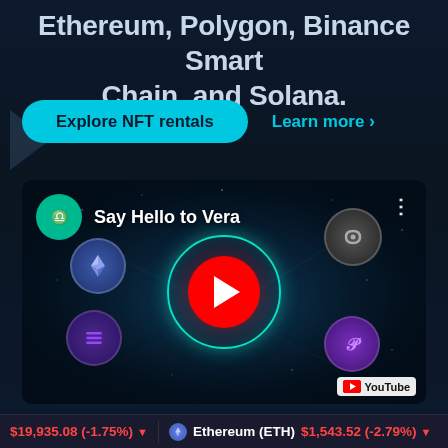Ethereum, Polygon, Binance Smart Chain, and Solana.
Explore NFT rentals | Learn more >
[Figure (screenshot): YouTube video thumbnail titled 'Say Hello to Vera' showing a digital cosmic network visualization with cryptocurrency logos (Ethereum, Solana, Polygon, Octahedron) orbiting a central teal ring, with a red YouTube play button in the center. YouTube watermark visible in bottom-right corner.]
$19,935.08 (-1.75%) ▼   Ethereum (ETH) $1,543.52 (-2.79%) ▼